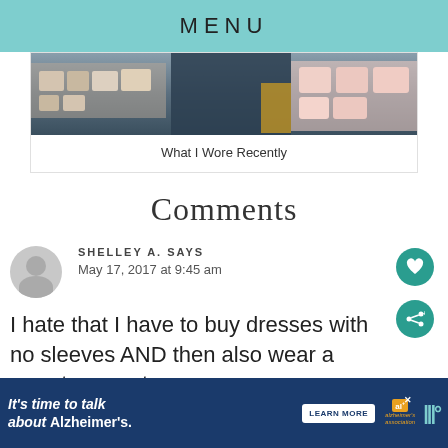MENU
[Figure (photo): Partial view of a person's lower body in dark pants at what appears to be a store or market with products on shelves in the background]
What I Wore Recently
Comments
SHELLEY A. SAYS
May 17, 2017 at 9:45 am
I hate that I have to buy dresses with no sleeves AND then also wear a sweater over to
[Figure (infographic): Alzheimer's association advertisement: It's time to talk about Alzheimer's. with LEARN MORE button and logo]